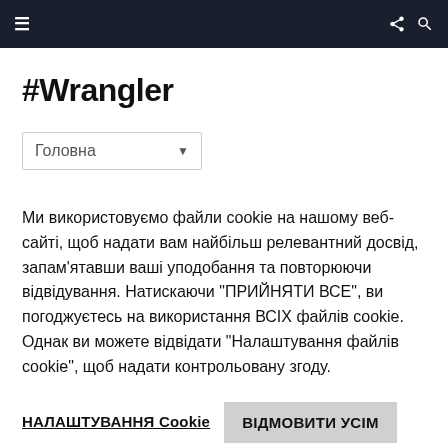≡  ⋮ 🔍
#Wrangler
Головна ▾
Ми використовуємо файли cookie на нашому веб-сайті, щоб надати вам найбільш релевантний досвід, запам'ятавши ваші уподобання та повторюючи відвідування. Натискаючи "ПРИЙНЯТИ ВСЕ", ви погоджуєтесь на використання ВСІХ файлів cookie. Однак ви можете відвідати "Налаштування файлів cookie", щоб надати контрольовану згоду.
НАЛАШТУВАННЯ Cookie
ВІДМОВИТИ УСІМ
ПРИЙНЯТИ УСІ